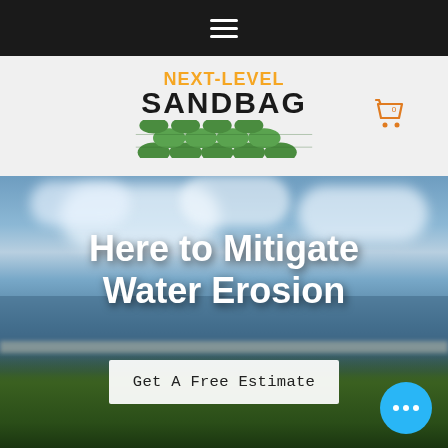[Figure (screenshot): Mobile navigation bar with hamburger menu icon on dark background]
[Figure (logo): Next-Level Sandbag logo with orange text 'NEXT-LEVEL', black bold text 'SANDBAG', green sandbag graphic illustration, and orange shopping cart icon]
[Figure (photo): Hero image of coastal waterfront scene with green lawn, shoreline, water, and cloudy sky]
Here to Mitigate Water Erosion
Get A Free Estimate